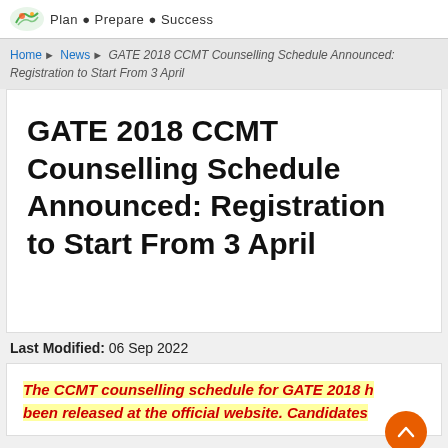Plan • Prepare • Success
Home ▶ News ▶ GATE 2018 CCMT Counselling Schedule Announced: Registration to Start From 3 April
GATE 2018 CCMT Counselling Schedule Announced: Registration to Start From 3 April
Last Modified: 06 Sep 2022
The CCMT counselling schedule for GATE 2018 has been released at the official website. Candidates